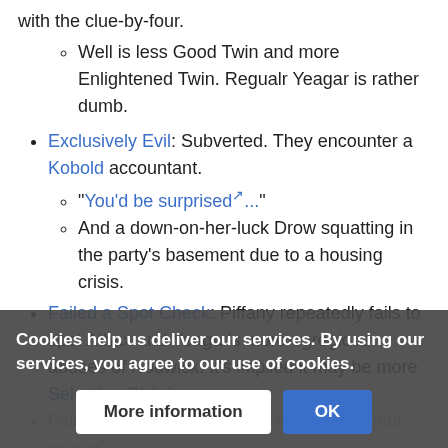with the clue-by-four.
Well is less Good Twin and more Enlightened Twin. Regualr Yeagar is rather dumb.
Exclusively Evil: Subverted. They encounter a Kobold accountant.
"You'd be surprised..."
And a down-on-her-luck Drow squatting in the party's basement due to a housing crisis.
Failed a Spot Check: Piffany repeatedly fails to spot Athax and Yeagar's more egregious abuses of Nodwick. It's implied it may be more Selective Obliviousness.
Fairy Tale: One stand-alone story in the print comic [ext] ...ic fairy tales.
Fractured ... the characters start rebelling against their roles and ar...
Cookies help us deliver our services. By using our services, you agree to our use of cookies.
More information | OK